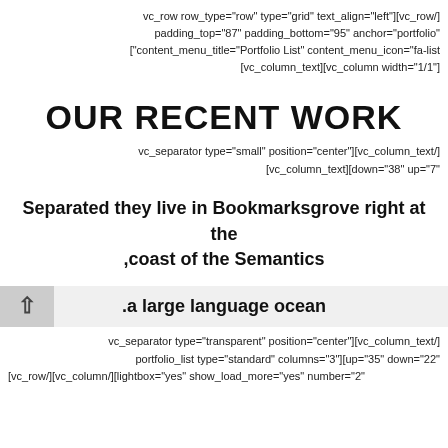vc_row row_type="row" type="grid" text_align="left"][vc_row/]
padding_top="87" padding_bottom="95" anchor="portfolio"
["content_menu_title="Portfolio List" content_menu_icon="fa-list
[vc_column_text][vc_column width="1/1"]
OUR RECENT WORK
vc_separator type="small" position="center"][vc_column_text/]
[vc_column_text][down="38" up="7"
Separated they live in Bookmarksgrove right at the ,coast of the Semantics
.a large language ocean
vc_separator type="transparent" position="center"][vc_column_text/]
portfolio_list type="standard" columns="3"][up="35" down="22"
[vc_row/][vc_column/][lightbox="yes" show_load_more="yes" number="2"